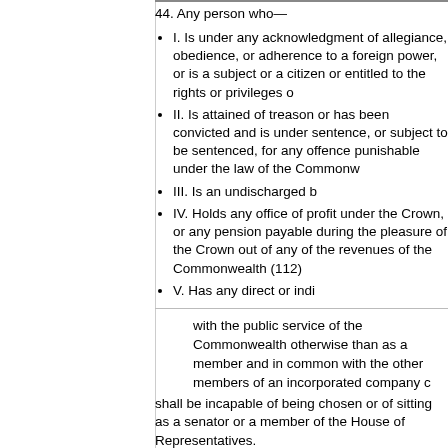44. Any person who—
I. Is under any acknowledgment of allegiance, obedience, or adherence to a foreign power, or is a subject or a citizen or entitled to the rights or privileges of a subject or citizen of a foreign power:
II. Is attained of treason, or has been convicted and is under sentence, or subject to be sentenced, for any offence punishable under the law of the Commonwealth or of a State by imprisonment for one year or longer:
III. Is an undischarged bankrupt or insolvent:
IV. Holds any office of profit under the Crown, or any pension payable during the pleasure of the Crown out of any of the revenues of the Commonwealth (112):
V. Has any direct or indirect pecuniary interest in any agreement with the public service of the Commonwealth otherwise than as a member and in common with the other members of an incorporated company consisting of more than twenty-five persons:
with the public service of the Commonwealth otherwise than as a member and in common with the other members of an incorporated company consisting of more than twenty-five persons:
shall be incapable of being chosen or of sitting as a senator or a member of the House of Representatives.
But sub-section IV. does not apply to the office of any of the Queen's Ministers for a State, nor does any disqualification attach to the receipt of pay, half-pay, or a pension, by any person as an officer of the Queen's navy or army, or to the receipt of pay as an officer or member of the naval or military forces of the Commonwealth, whose services are not wholly employed by the Commonwealth.
note
45. If a senator or member of the House of Representatives—